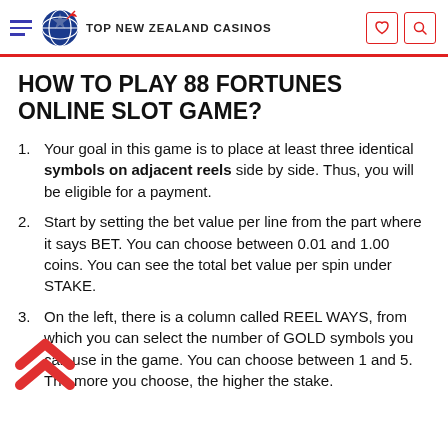TOP NEW ZEALAND CASINOS
HOW TO PLAY 88 FORTUNES ONLINE SLOT GAME?
Your goal in this game is to place at least three identical symbols on adjacent reels side by side. Thus, you will be eligible for a payment.
Start by setting the bet value per line from the part where it says BET. You can choose between 0.01 and 1.00 coins. You can see the total bet value per spin under STAKE.
On the left, there is a column called REEL WAYS, from which you can select the number of GOLD symbols you can use in the game. You can choose between 1 and 5. The more you choose, the higher the stake.